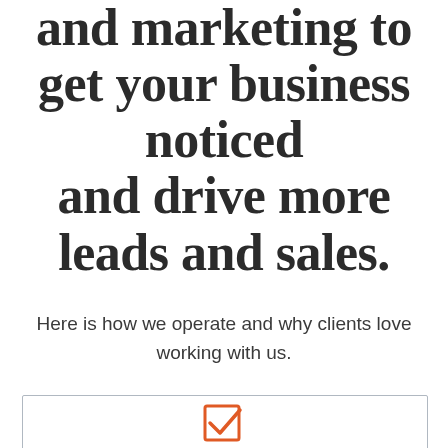and marketing to get your business noticed and drive more leads and sales.
Here is how we operate and why clients love working with us.
[Figure (illustration): A bordered box containing an orange/red checkmark icon (checkbox with tick)]